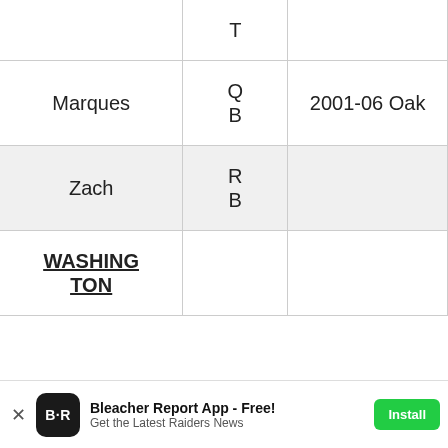|  | T |  |
| --- | --- | --- |
| Marques | Q
B | 2001-06 Oak... |
| Zach | R
B |  |
| WASHINGTON |  |  |
Bleacher Report App - Free! Get the Latest Raiders News Install